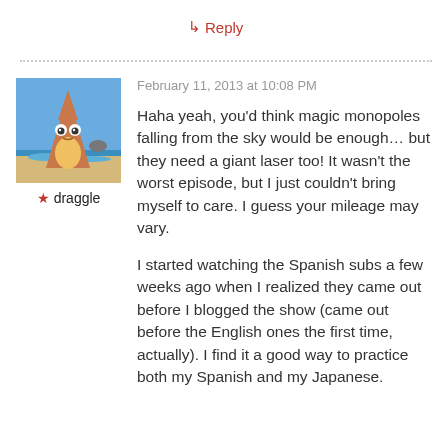↳ Reply
[Figure (photo): Avatar image of a cartoon character (cone-shaped creature with eyes, on a beach background), used as user profile picture for 'draggle']
★ draggle
February 11, 2013 at 10:08 PM
Haha yeah, you'd think magic monopoles falling from the sky would be enough… but they need a giant laser too! It wasn't the worst episode, but I just couldn't bring myself to care. I guess your mileage may vary.
I started watching the Spanish subs a few weeks ago when I realized they came out before I blogged the show (came out before the English ones the first time, actually). I find it a good way to practice both my Spanish and my Japanese.